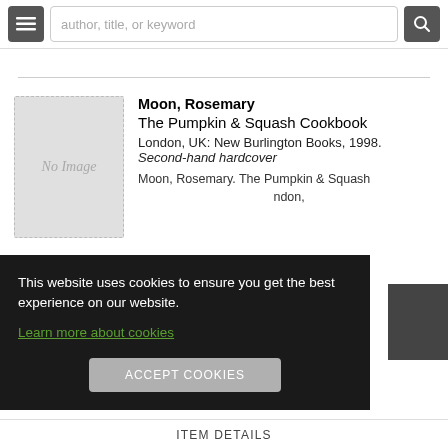author, title, or keyword
[Figure (screenshot): No Image book thumbnail placeholder]
Moon, Rosemary
The Pumpkin & Squash Cookbook
London, UK: New Burlington Books, 1998. Second-hand hardcover
Moon, Rosemary. The Pumpkin & Squash ... ndon,
This website uses cookies to ensure you get the best experience on our website.
Learn more about cookies
ACCEPT COOKIES
ITEM DETAILS